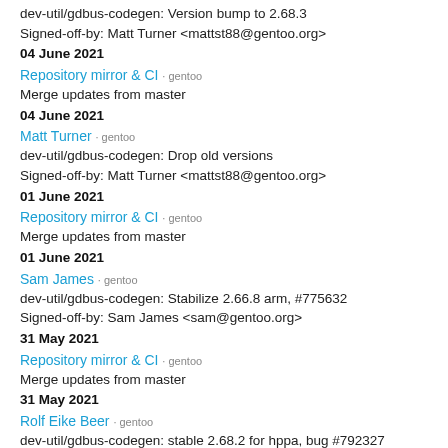dev-util/gdbus-codegen: Version bump to 2.68.3
Signed-off-by: Matt Turner <mattst88@gentoo.org>
04 June 2021
Repository mirror & CI · gentoo
Merge updates from master
04 June 2021
Matt Turner · gentoo
dev-util/gdbus-codegen: Drop old versions
Signed-off-by: Matt Turner <mattst88@gentoo.org>
01 June 2021
Repository mirror & CI · gentoo
Merge updates from master
01 June 2021
Sam James · gentoo
dev-util/gdbus-codegen: Stabilize 2.66.8 arm, #775632
Signed-off-by: Sam James <sam@gentoo.org>
31 May 2021
Repository mirror & CI · gentoo
Merge updates from master
31 May 2021
Rolf Eike Beer · gentoo
dev-util/gdbus-codegen: stable 2.68.2 for hppa, bug #792327